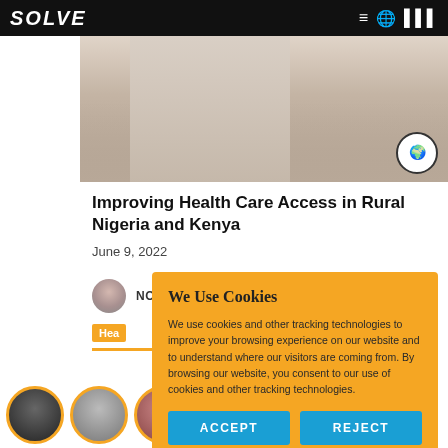SOLVE
[Figure (photo): Person in white clothing standing against a wall, with a circular logo badge in the bottom right]
Improving Health Care Access in Rural Nigeria and Kenya
June 9, 2022
NOEL SHASKAN
Hea...
[Figure (infographic): Cookie consent popup overlay with orange background. Title: We Use Cookies. Body text: We use cookies and other tracking technologies to improve your browsing experience on our website and to understand where our visitors are coming from. By browsing our website, you consent to our use of cookies and other tracking technologies. Two buttons: ACCEPT and REJECT.]
[Figure (photo): Row of circular profile photo thumbnails at the bottom of the page]